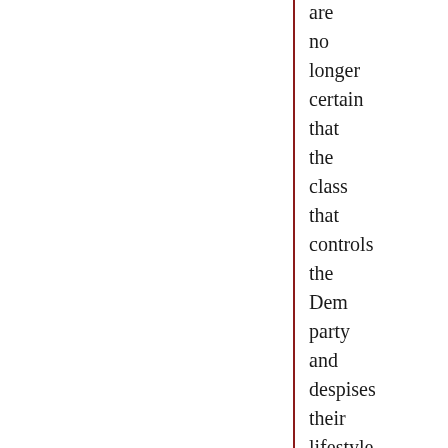are no longer certain that the class that controls the Dem party and despises their lifestyle is their kind